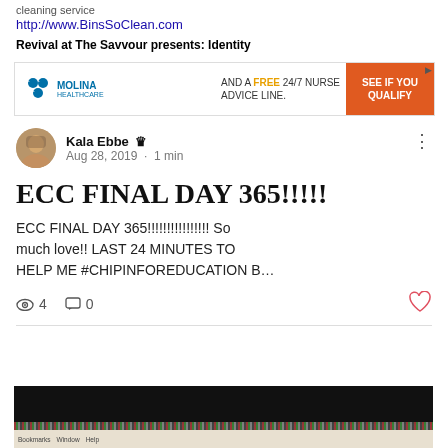cleaning service
http://www.BinsSoClean.com
Revival at The Savvour presents: Identity
[Figure (screenshot): Molina Healthcare advertisement banner: AND A FREE 24/7 NURSE ADVICE LINE. SEE IF YOU QUALIFY]
Kala Ebbe  Admin
Aug 28, 2019 · 1 min
ECC FINAL DAY 365!!!!!
ECC FINAL DAY 365!!!!!!!!!!!!!!!! So much love!! LAST 24 MINUTES TO HELP ME #CHIPINFOREDUCATION B…
4   0
[Figure (screenshot): Partial screenshot of a browser/laptop screen showing a dark screen with browser menu bar at bottom showing Bookmarks, Window, Help]